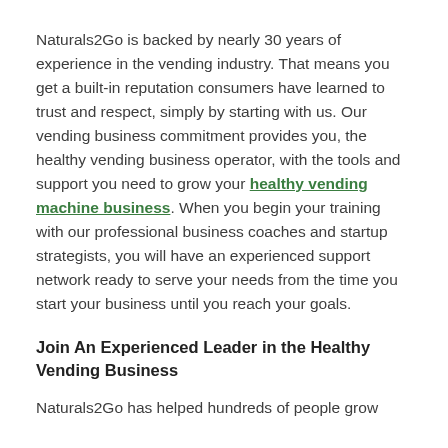Naturals2Go is backed by nearly 30 years of experience in the vending industry. That means you get a built-in reputation consumers have learned to trust and respect, simply by starting with us. Our vending business commitment provides you, the healthy vending business operator, with the tools and support you need to grow your healthy vending machine business. When you begin your training with our professional business coaches and startup strategists, you will have an experienced support network ready to serve your needs from the time you start your business until you reach your goals.
Join An Experienced Leader in the Healthy Vending Business
Naturals2Go has helped hundreds of people grow